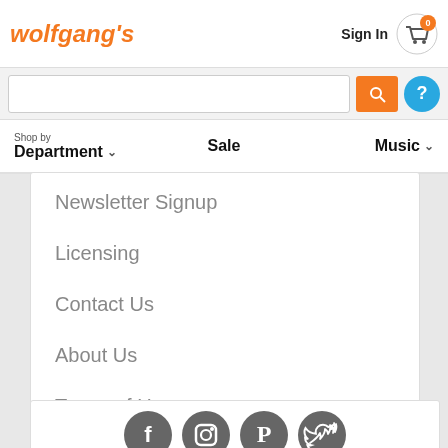wolfgang's
Sign In
Newsletter Signup
Licensing
Contact Us
About Us
Terms of Use
Privacy Policy
Help
[Figure (illustration): Social media icons: Facebook, Instagram, Pinterest, Twitter]
Shop by Department | Sale | Music